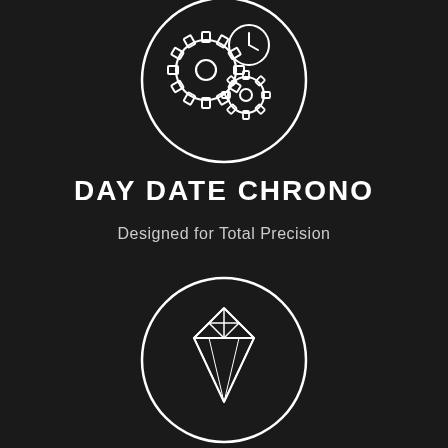[Figure (illustration): White line icon of gears and a clock/compass inside a circle on dark background, representing mechanical precision]
DAY DATE CHRONO
Designed for Total Precision
[Figure (illustration): White line icon of a diamond gemstone inside a circle on dark background, representing luxury and quality]